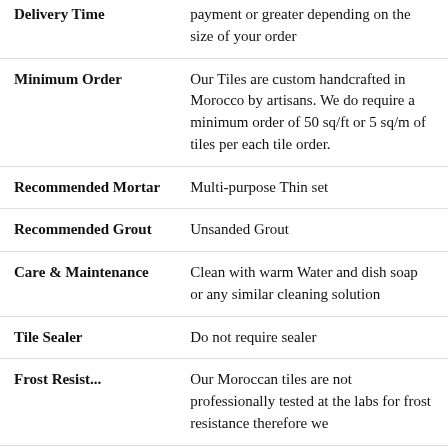| Field | Description |
| --- | --- |
| Delivery Time | payment or greater depending on the size of your order |
| Minimum Order | Our Tiles are custom handcrafted in Morocco by artisans. We do require a minimum order of 50 sq/ft or 5 sq/m of tiles per each tile order. |
| Recommended Mortar | Multi-purpose Thin set |
| Recommended Grout | Unsanded Grout |
| Care & Maintenance | Clean with warm Water and dish soap or any similar cleaning solution |
| Tile Sealer | Do not require sealer |
| Frost Resist... | Our Moroccan tiles are not professionally tested at the labs for frost resistance therefore we |